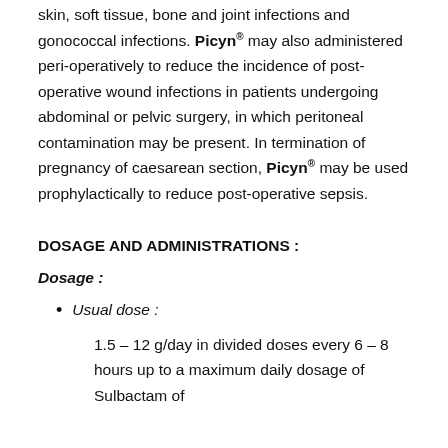skin, soft tissue, bone and joint infections and gonococcal infections. Picyn® may also administered peri-operatively to reduce the incidence of post-operative wound infections in patients undergoing abdominal or pelvic surgery, in which peritoneal contamination may be present. In termination of pregnancy of caesarean section, Picyn® may be used prophylactically to reduce post-operative sepsis.
DOSAGE AND ADMINISTRATIONS :
Dosage :
Usual dose :
1.5 – 12 g/day in divided doses every 6 – 8 hours up to a maximum daily dosage of Sulbactam of